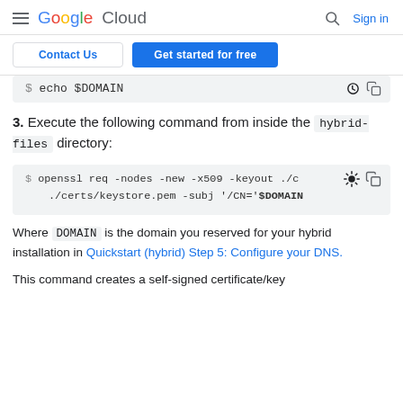Google Cloud  Sign in
Contact Us  Get started for free
$ echo $DOMAIN
3. Execute the following command from inside the hybrid-files directory:
$ openssl req -nodes -new -x509 -keyout ./c
./certs/keystore.pem -subj '/CN='$DOMAIN
Where DOMAIN is the domain you reserved for your hybrid installation in Quickstart (hybrid) Step 5: Configure your DNS.
This command creates a self-signed certificate/key